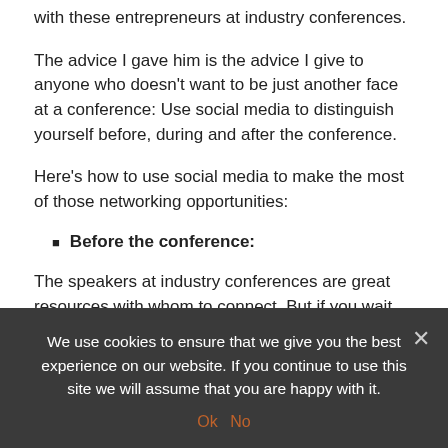with these entrepreneurs at industry conferences.
The advice I gave him is the advice I give to anyone who doesn't want to be just another face at a conference: Use social media to distinguish yourself before, during and after the conference.
Here's how to use social media to make the most of those networking opportunities:
Before the conference:
The speakers at industry conferences are great resources with whom to connect. But if you wait until after a speaker gives her talk, you'll probably have to wait in a long line to introduce yourself. Since almost every speaker list is made public before a conference, there's no reason to wait until the conference to
We use cookies to ensure that we give you the best experience on our website. If you continue to use this site we will assume that you are happy with it.
Ok  No